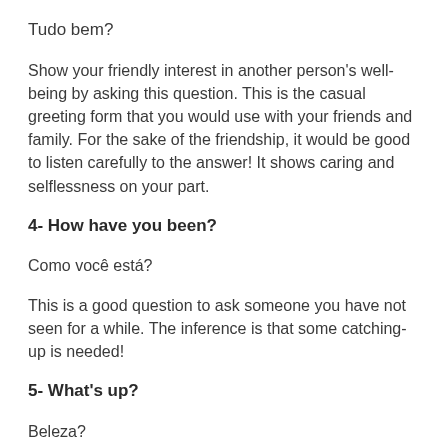Tudo bem?
Show your friendly interest in another person's well-being by asking this question. This is the casual greeting form that you would use with your friends and family. For the sake of the friendship, it would be good to listen carefully to the answer! It shows caring and selflessness on your part.
4- How have you been?
Como você está?
This is a good question to ask someone you have not seen for a while. The inference is that some catching-up is needed!
5- What's up?
Beleza?